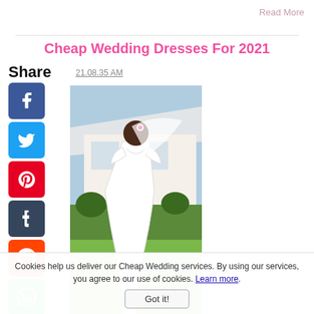Read More
Cheap Wedding Dresses For 2021
Share  21.08.35 AM
[Figure (photo): Bride in a white backless wedding dress with short sleeves, photographed from behind in a garden setting with a white tent and greenery]
Help to find your gorgeous and cheap wedding dresses for
Cookies help us deliver our Cheap Wedding services. By using our services, you agree to our use of cookies. Learn more.
Got it!